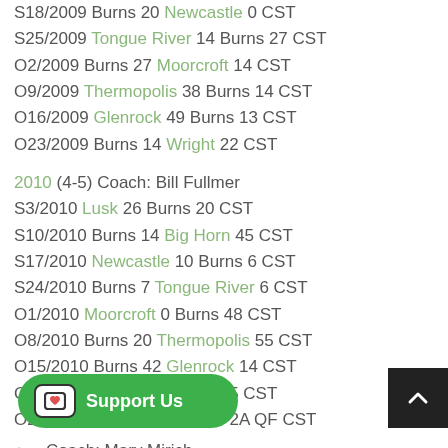S18/2009 Burns 20 Newcastle 0 CST
S25/2009 Tongue River 14 Burns 27 CST
O2/2009 Burns 27 Moorcroft 14 CST
O9/2009 Thermopolis 38 Burns 14 CST
O16/2009 Glenrock 49 Burns 13 CST
O23/2009 Burns 14 Wright 22 CST
2010 (4-5) Coach: Bill Fullmer
S3/2010 Lusk 26 Burns 20 CST
S10/2010 Burns 14 Big Horn 45 CST
S17/2010 Newcastle 10 Burns 6 CST
S24/2010 Burns 7 Tongue River 6 CST
O1/2010 Moorcroft 0 Burns 48 CST
O8/2010 Burns 20 Thermopolis 55 CST
O15/2010 Burns 42 Glenrock 14 CST
O22/2010 Wright 18 Burns 25 CST
O29/2010 Burns 0 Lovell 20 2A QF CST
2011 (4-5) Coach: Marv Mirich
S2/2011 Burns 7 Lovell 18 CST